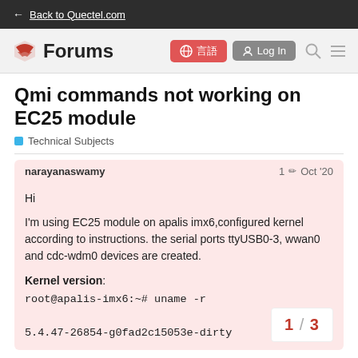← Back to Quectel.com
[Figure (logo): Quectel Forums logo with red icon and Forums text, globe/language button, Log In button, search and menu icons]
Qmi commands not working on EC25 module
Technical Subjects
narayanaswamy  1 ✏  Oct '20
Hi

I'm using EC25 module on apalis imx6,configured kernel according to instructions. the serial ports ttyUSB0-3, wwan0 and cdc-wdm0 devices are created.

Kernel version:
root@apalis-imx6:~# uname -r
5.4.47-26854-g0fad2c15053e-dirty
1 / 3